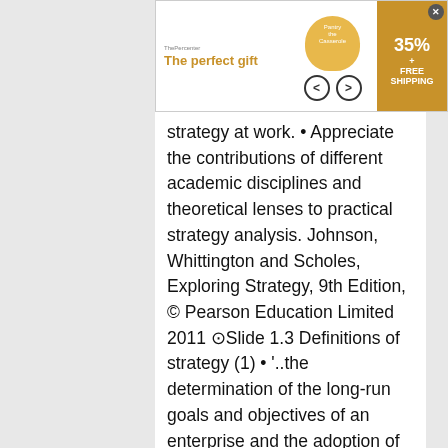[Figure (other): Advertisement banner at top: 'The perfect gift' with bowl image, arrows, 35% FREE SHIPPING badge]
strategy at work. • Appreciate the contributions of different academic disciplines and theoretical lenses to practical strategy analysis. Johnson, Whittington and Scholes, Exploring Strategy, 9th Edition, © Pearson Education Limited 2011 ○Slide 1.3 Definitions of strategy (1) • '..the determination of the long-run goals and objectives of an enterprise and the adoption of courses of action and the allocation of resource necessary for carrying out these goals' Alfred Chandler • 'Competitive strategy is about being different. It means deliberately choosing a different set of activities to deliver a unique mix of value' Michael Porter Sources: A.D. Chandler, Strategy and Structure: Chapters in the History of American Enterprise, MIT Press, 1963, p. 13 M.E. Porter, 'What
[Figure (other): Advertisement banner at bottom: 'The perfect gift' with bowl image, arrows, 35% OFF FREE SHIPPING badge]